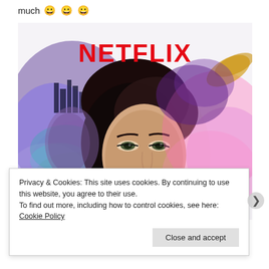much 😀 😀 😀
[Figure (illustration): Netflix promotional artwork showing a stylized portrait of a woman with dark hair against a colorful painterly background featuring purple smoke, a cityscape on the left, and pink/gold abstract elements on the right. The Netflix logo in bold red letters appears at the top of the image.]
Privacy & Cookies: This site uses cookies. By continuing to use this website, you agree to their use.
To find out more, including how to control cookies, see here: Cookie Policy
Close and accept